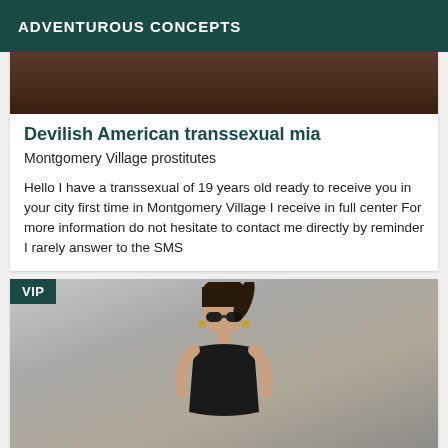ADVENTUROUS CONCEPTS
[Figure (photo): Cropped top portion of a photo with dark brown background]
Devilish American transsexual mia
Montgomery Village prostitutes
Hello I have a transsexual of 19 years old ready to receive you in your city first time in Montgomery Village I receive in full center For more information do not hesitate to contact me directly by reminder I rarely answer to the SMS
[Figure (photo): Photo of a woman with sunglasses and dark hair at a rocky beach, with VIP badge overlay]